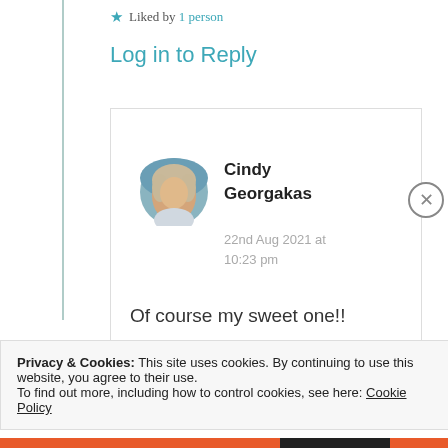★ Liked by 1 person
Log in to Reply
Cindy Georgakas
22nd Aug 2021 at 10:23 pm
Of course my sweet one!!
Privacy & Cookies: This site uses cookies. By continuing to use this website, you agree to their use.
To find out more, including how to control cookies, see here: Cookie Policy
Close and accept